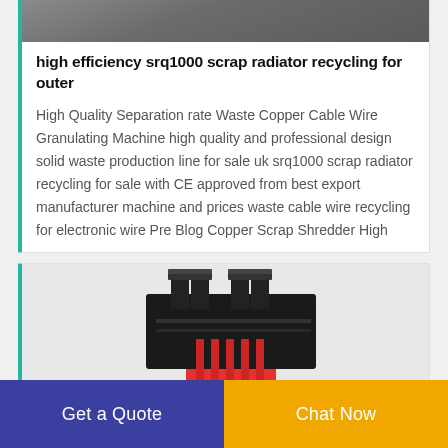[Figure (photo): Top portion of a product/machine photo in dark grey tones, cropped at top]
high efficiency srq1000 scrap radiator recycling for outer
High Quality Separation rate Waste Copper Cable Wire Granulating Machine high quality and professional design solid waste production line for sale uk srq1000 scrap radiator recycling for sale with CE approved from best export manufacturer machine and prices waste cable wire recycling for electronic wire Pre Blog Copper Scrap Shredder High
[Figure (photo): Product photo showing a red and black industrial machine (cable wire recycling/shredder machine) on light grey background]
Get a Quote
Chat Now